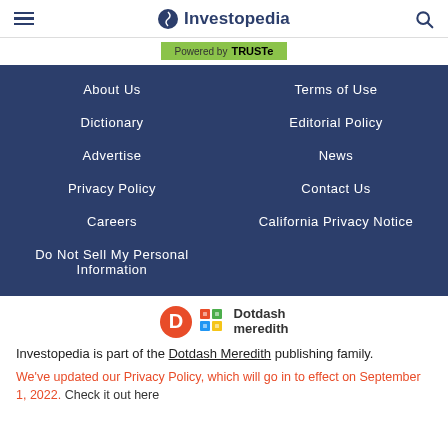Investopedia
[Figure (logo): TRUSTe badge - Powered by TRUSTe on green background]
About Us
Terms of Use
Dictionary
Editorial Policy
Advertise
News
Privacy Policy
Contact Us
Careers
California Privacy Notice
Do Not Sell My Personal Information
[Figure (logo): Dotdash Meredith logo with colorful grid icon and D icon]
Investopedia is part of the Dotdash Meredith publishing family.
We've updated our Privacy Policy, which will go in to effect on September 1, 2022. Check it out here